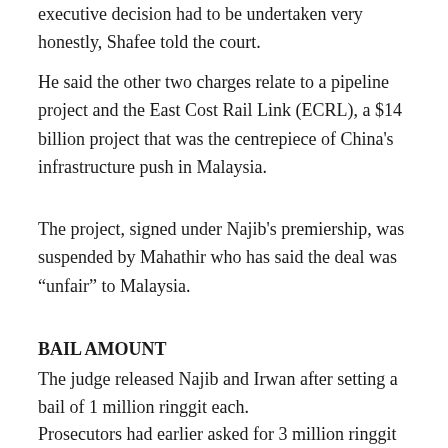executive decision had to be undertaken very honestly, Shafee told the court.
He said the other two charges relate to a pipeline project and the East Cost Rail Link (ECRL), a $14 billion project that was the centrepiece of China's infrastructure push in Malaysia.
The project, signed under Najib's premiership, was suspended by Mahathir who has said the deal was “unfair” to Malaysia.
BAIL AMOUNT
The judge released Najib and Irwan after setting a bail of 1 million ringgit each.
Prosecutors had earlier asked for 3 million ringgit bail